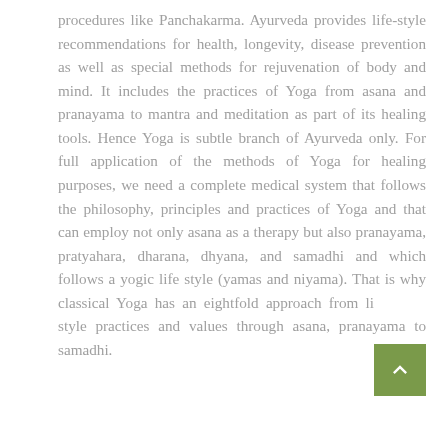procedures like Panchakarma. Ayurveda provides life-style recommendations for health, longevity, disease prevention as well as special methods for rejuvenation of body and mind. It includes the practices of Yoga from asana and pranayama to mantra and meditation as part of its healing tools. Hence Yoga is subtle branch of Ayurveda only. For full application of the methods of Yoga for healing purposes, we need a complete medical system that follows the philosophy, principles and practices of Yoga and that can employ not only asana as a therapy but also pranayama, pratyahara, dharana, dhyana, and samadhi and which follows a yogic life style (yamas and niyama). That is why classical Yoga has an eightfold approach from lifestyle practices and values through asana, pranayama to samadhi.